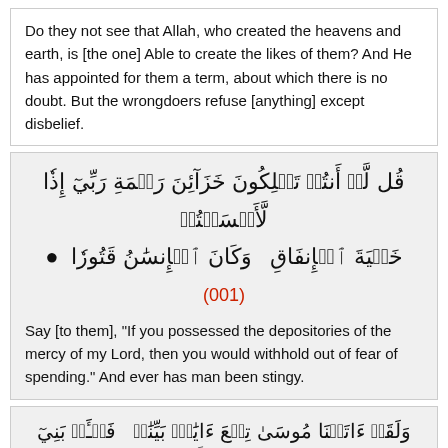Do they not see that Allah, who created the heavens and earth, is [the one] Able to create the likes of them? And He has appointed for them a term, about which there is no doubt. But the wrongdoers refuse [anything] except disbelief.
[Figure (other): Arabic Quran verse block with Arabic script and verse number 100]
Say [to them], "If you possessed the depositories of the mercy of my Lord, then you would withhold out of fear of spending." And ever has man been stingy.
[Figure (other): Arabic Quran verse block with Arabic script, partially visible]